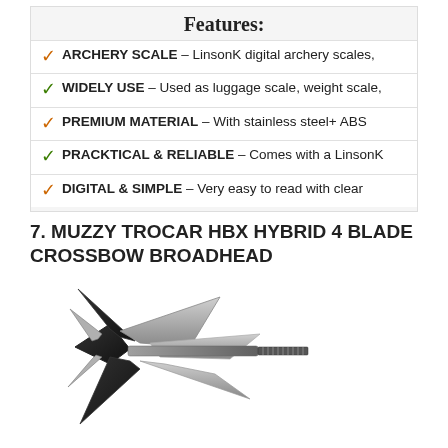Features:
ARCHERY SCALE – LinsonK digital archery scales,
WIDELY USE – Used as luggage scale, weight scale,
PREMIUM MATERIAL – With stainless steel+ ABS
PRACKTICAL & RELIABLE – Comes with a LinsonK
DIGITAL & SIMPLE – Very easy to read with clear
7. MUZZY TROCAR HBX HYBRID 4 BLADE CROSSBOW BROADHEAD
[Figure (photo): Photo of a Muzzy Trocar HBX Hybrid 4 blade crossbow broadhead, showing a metallic arrowhead with multiple blades and a threaded screw tip, on a white background.]
Buy Now On Amazon